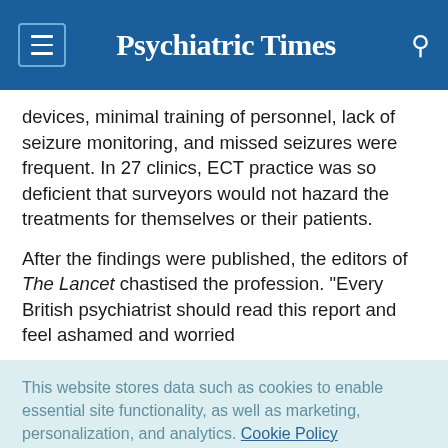Psychiatric Times
devices, minimal training of personnel, lack of seizure monitoring, and missed seizures were frequent. In 27 clinics, ECT practice was so deficient that surveyors would not hazard the treatments for themselves or their patients.
After the findings were published, the editors of The Lancet chastised the profession. "Every British psychiatrist should read this report and feel ashamed and worried
This website stores data such as cookies to enable essential site functionality, as well as marketing, personalization, and analytics. Cookie Policy
Accept
Deny